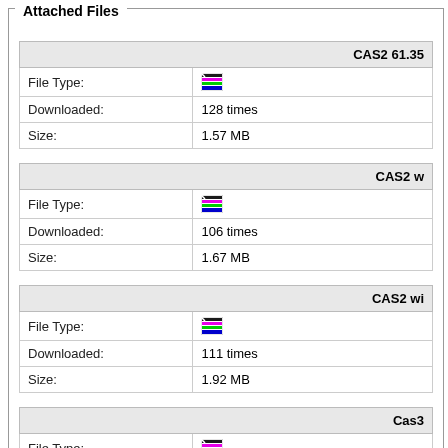Attached Files
|  | CAS2 61.35... |
| --- | --- |
| File Type: | [icon] |
| Downloaded: | 128 times |
| Size: | 1.57 MB |
|  | CAS2 w... |
| --- | --- |
| File Type: | [icon] |
| Downloaded: | 106 times |
| Size: | 1.67 MB |
|  | CAS2 wi... |
| --- | --- |
| File Type: | [icon] |
| Downloaded: | 111 times |
| Size: | 1.92 MB |
|  | Cas3 ... |
| --- | --- |
| File Type: | [icon] |
| Downloaded: | 137 times |
| Size: | 159.28 KB |
|  | CAS3 B... |
| --- | --- |
| File Type: | [icon] |
| Downloaded: | 479 times |
| Size: |  |